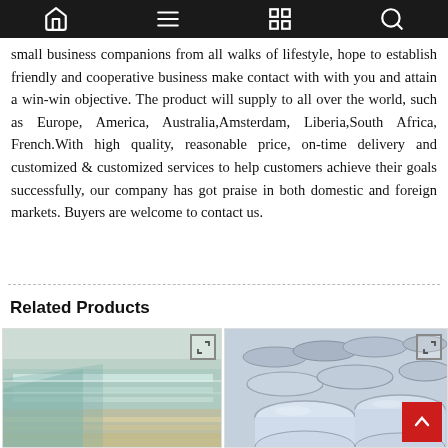[Navigation bar with home, menu, book, and search icons]
small business companions from all walks of lifestyle, hope to establish friendly and cooperative business make contact with with you and attain a win-win objective. The product will supply to all over the world, such as Europe, America, Australia,Amsterdam, Liberia,South Africa, French.With high quality, reasonable price, on-time delivery and customized & customized services to help customers achieve their goals successfully, our company has got praise in both domestic and foreign markets. Buyers are welcome to contact us.
Related Products
[Figure (photo): Aluminum sheet metal product photo showing stacked blue/green tinted metal sheets with reflective surface]
[Figure (photo): Aluminum circle discs product photo showing multiple stacked circular aluminum blanks]